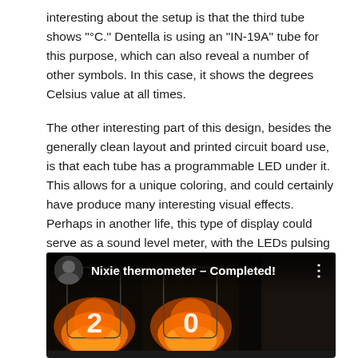interesting about the setup is that the third tube shows "°C." Dentella is using an "IN-19A" tube for this purpose, which can also reveal a number of other symbols. In this case, it shows the degrees Celsius value at all times.
The other interesting part of this design, besides the generally clean layout and printed circuit board use, is that each tube has a programmable LED under it. This allows for a unique coloring, and could certainly have produce many interesting visual effects. Perhaps in another life, this type of display could serve as a sound level meter, with the LEDs pulsing on and off to the beat of the music.
[Figure (screenshot): A YouTube video thumbnail showing Nixie tubes glowing orange, with the video title 'Nixie thermometer – Completed!' displayed in white text on a dark background, along with a circular channel icon on the left and a three-dot menu icon on the right.]